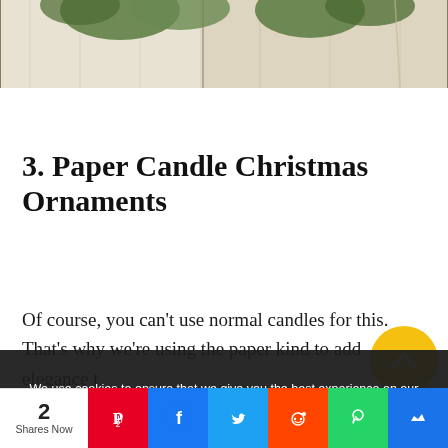[Figure (photo): Partial photo of Christmas decorations with greenery on a whitewashed wood background]
3. Paper Candle Christmas Ornaments
Of course, you can't use normal candles for this. That's why we're using the paper kind to add elegance t…
We use cookies to ensure that we give you the best experience on our website. If you continue to use this site we will assume that you are happy with it.
2
Shares Now